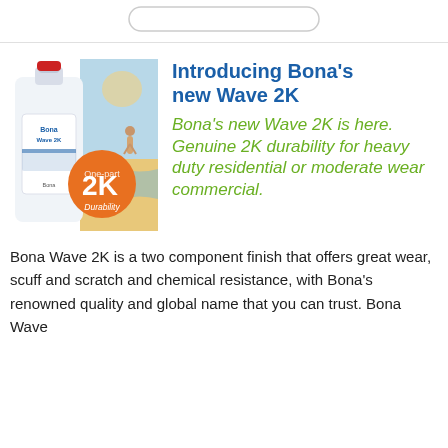[Figure (illustration): Bona Wave 2K product bottle with orange 2K badge and background beach scene]
Introducing Bona's new Wave 2K
Bona's new Wave 2K is here. Genuine 2K durability for heavy duty residential or moderate wear commercial.
Bona Wave 2K is a two component finish that offers great wear, scuff and scratch and chemical resistance, with Bona's renowned quality and global name that you can trust. Bona Wave